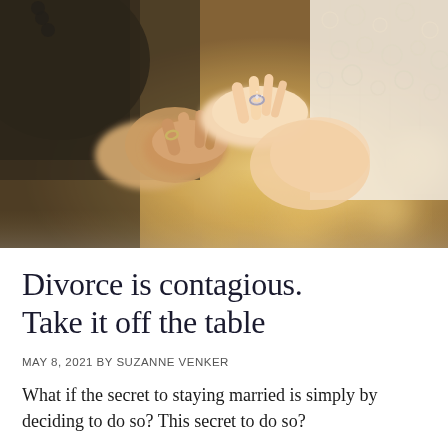[Figure (photo): Close-up photograph of a bride and groom holding hands, showing their wedding rings. The bride wears a lace dress sleeve visible on the right. Warm golden bokeh background.]
Divorce is contagious. Take it off the table
MAY 8, 2021 BY SUZANNE VENKER
What if the secret to staying married is simply by deciding to do so? This secret to do so?